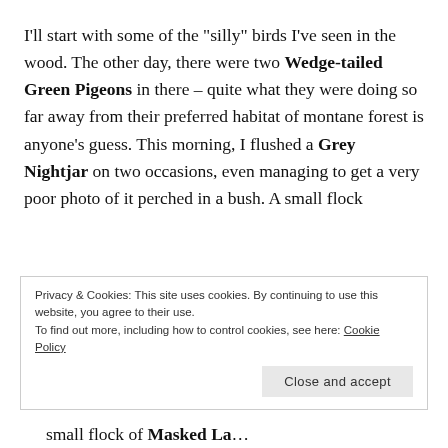I’ll start with some of the “silly” birds I’ve seen in the wood. The other day, there were two Wedge-tailed Green Pigeons in there – quite what they were doing so far away from their preferred habitat of montane forest is anyone’s guess. This morning, I flushed a Grey Nightjar on two occasions, even managing to get a very poor photo of it perched in a bush. A small flock
Privacy & Cookies: This site uses cookies. By continuing to use this website, you agree to their use.
To find out more, including how to control cookies, see here: Cookie Policy
small flock of Masked Lapwing thought the color scheme was